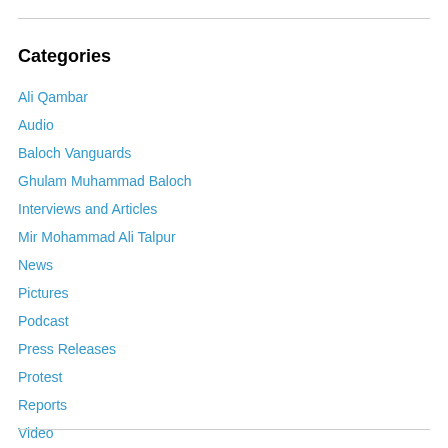Categories
Ali Qambar
Audio
Baloch Vanguards
Ghulam Muhammad Baloch
Interviews and Articles
Mir Mohammad Ali Talpur
News
Pictures
Podcast
Press Releases
Protest
Reports
Video
Write-up